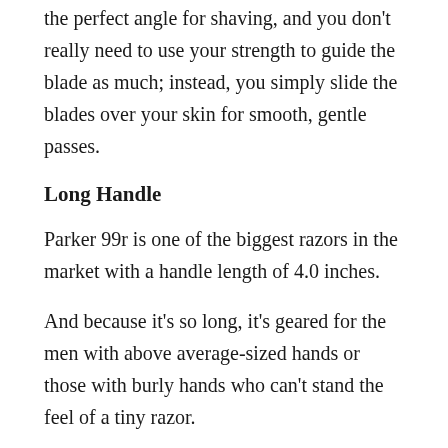the perfect angle for shaving, and you don't really need to use your strength to guide the blade as much; instead, you simply slide the blades over your skin for smooth, gentle passes.
Long Handle
Parker 99r is one of the biggest razors in the market with a handle length of 4.0 inches.
And because it's so long, it's geared for the men with above average-sized hands or those with burly hands who can't stand the feel of a tiny razor.